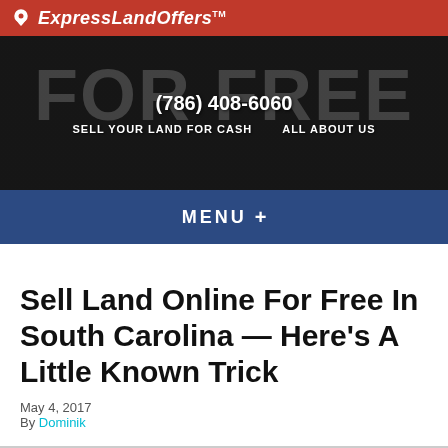ExpressLandOffers™ — (786) 408-6060 — SELL YOUR LAND FOR CASH — ALL ABOUT US
MENU +
Sell Land Online For Free In South Carolina — Here's A Little Known Trick
May 4, 2017
By Dominik